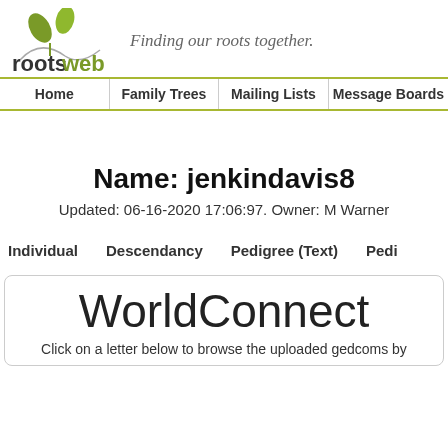[Figure (logo): RootsWeb logo with two green leaves above the text 'rootsweb' and tagline 'Finding our roots together.' in italic]
Home | Family Trees | Mailing Lists | Message Boards
Name: jenkindavis8
Updated: 06-16-2020 17:06:97. Owner: M Warner
Individual   Descendancy   Pedigree (Text)   Pedi
WorldConnect
Click on a letter below to browse the uploaded gedcoms by